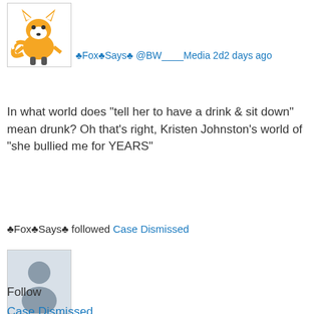♣Fox♣Says♣ @BW____Media 2d2 days ago
In what world does "tell her to have a drink & sit down" mean drunk? Oh that's right, Kristen Johnston's world of "she bullied me for YEARS"
♣Fox♣Says♣ followed Case Dismissed
[Figure (illustration): Generic user profile placeholder avatar — grey silhouette of a person on light blue-grey background]
Follow
Case Dismissed